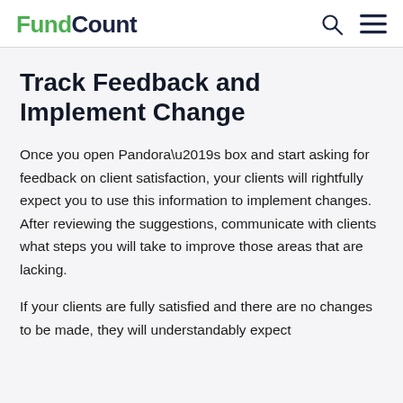FundCount
Track Feedback and Implement Change
Once you open Pandora’s box and start asking for feedback on client satisfaction, your clients will rightfully expect you to use this information to implement changes. After reviewing the suggestions, communicate with clients what steps you will take to improve those areas that are lacking.
If your clients are fully satisfied and there are no changes to be made, they will understandably expect